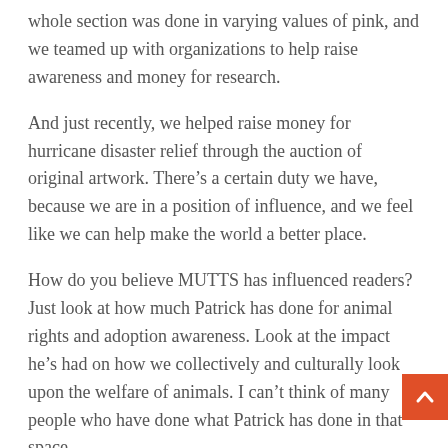whole section was done in varying values of pink, and we teamed up with organizations to help raise awareness and money for research.
And just recently, we helped raise money for hurricane disaster relief through the auction of original artwork. There’s a certain duty we have, because we are in a position of influence, and we feel like we can help make the world a better place.
How do you believe MUTTS has influenced readers? Just look at how much Patrick has done for animal rights and adoption awareness. Look at the impact he’s had on how we collectively and culturally look upon the welfare of animals. I can’t think of many people who have done what Patrick has done in that space.
I’ve always thought MUTTS was a timeless comic strip, but aside from that, I’m also an animal lover. We rescued our dog from a shelter, and when Patrick creates his Shelter